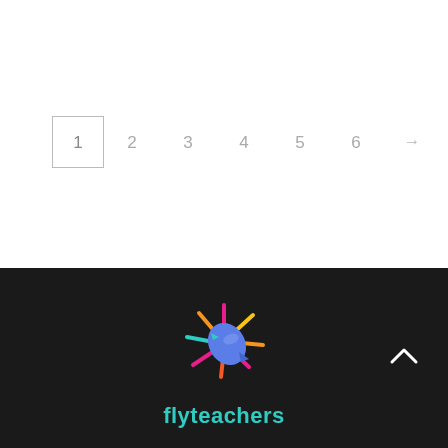1  2  3  4  5  6  →
[Figure (logo): Flyteachers logo: colorful bird/sun graphic with multicolored rays in pink, orange, yellow, cyan, and the text 'flyteachers' in teal below]
flyteachers